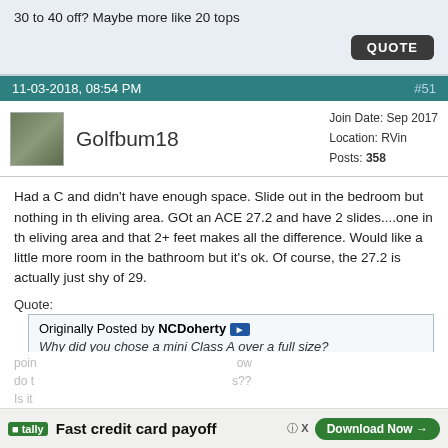30 to 40 off? Maybe more like 20 tops
QUOTE
11-03-2018, 08:54 PM  #51
Golfbum18  Join Date: Sep 2017  Location: RVin  Posts: 358
Had a C and didn't have enough space. Slide out in the bedroom but nothing in th eliving area. GOt an ACE 27.2 and have 2 slides....one in th eliving area and that 2+ feet makes all the difference. Would like a little more room in the bathroom but it's ok. Of course, the 27.2 is actually just shy of 29.
Quote: Originally Posted by NCDoherty Why did you chose a mini Class A over a full size? I am on the brink of buying a 28' to 30' and need someone to
Fast credit card payoff  Download Now